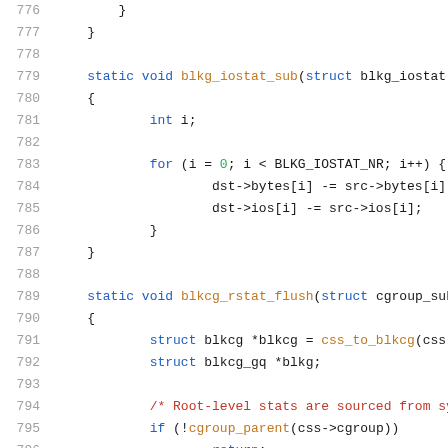Source code listing, lines 776-797, C language kernel code showing blkg_iostat_sub and blkcg_rstat_flush functions